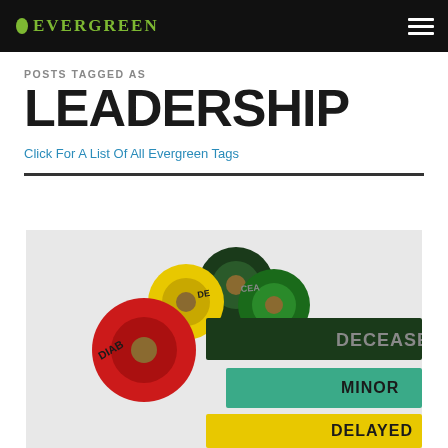EVERGREEN
POSTS TAGGED AS
LEADERSHIP
Click For A List Of All Evergreen Tags
[Figure (photo): Rolls of colored triage tape in red, yellow, and green with text labels: DECEASED (dark/green tape), MINOR (light green/teal tape), DELAYED (yellow tape), and partial text on rolls.]